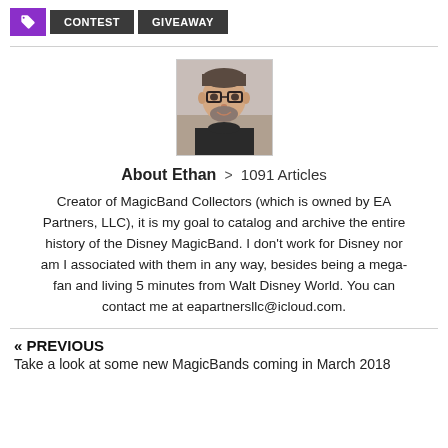CONTEST
GIVEAWAY
[Figure (photo): Author photo of Ethan, a man with glasses and a beard, smiling, wearing a black shirt]
About Ethan > 1091 Articles
Creator of MagicBand Collectors (which is owned by EA Partners, LLC), it is my goal to catalog and archive the entire history of the Disney MagicBand. I don't work for Disney nor am I associated with them in any way, besides being a mega-fan and living 5 minutes from Walt Disney World. You can contact me at eapartnersllc@icloud.com.
« PREVIOUS Take a look at some new MagicBands coming in March 2018